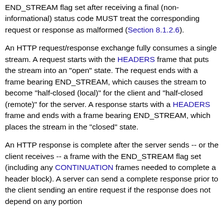END_STREAM flag set after receiving a final (non-informational) status code MUST treat the corresponding request or response as malformed (Section 8.1.2.6).
An HTTP request/response exchange fully consumes a single stream. A request starts with the HEADERS frame that puts the stream into an "open" state. The request ends with a frame bearing END_STREAM, which causes the stream to become "half-closed (local)" for the client and "half-closed (remote)" for the server. A response starts with a HEADERS frame and ends with a frame bearing END_STREAM, which places the stream in the "closed" state.
An HTTP response is complete after the server sends -- or the client receives -- a frame with the END_STREAM flag set (including any CONTINUATION frames needed to complete a header block). A server can send a complete response prior to the client sending an entire request if the response does not depend on any portion